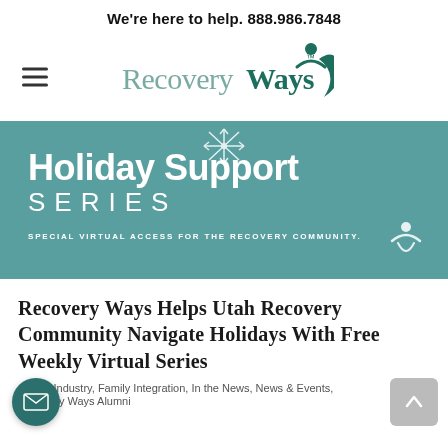We're here to help. 888.986.7848
[Figure (logo): Recovery Ways logo with stylized human figure and crescent shape]
[Figure (infographic): Teal banner reading 'Holiday Support SERIES — Special Virtual Access for the Recovery Community.' with snowflake and icon decorations]
Recovery Ways Helps Utah Recovery Community Navigate Holidays With Free Weekly Virtual Series
Caring Industry, Family Integration, In the News, News & Events, Recovery Ways Alumni